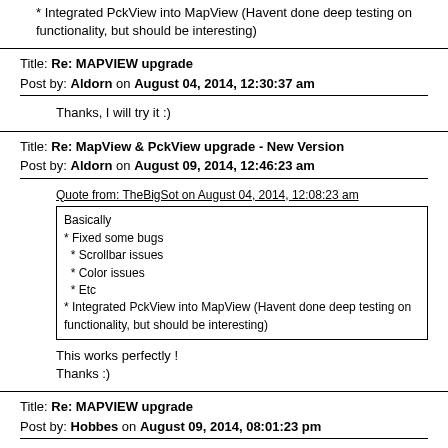* Integrated PckView into MapView  (Havent done deep testing on functionality, but should be interesting)
Title: Re: MAPVIEW upgrade
Post by: Aldorn on August 04, 2014, 12:30:37 am
Thanks, I will try it  :)
Title: Re: MapView & PckView upgrade - New Version
Post by: Aldorn on August 09, 2014, 12:46:23 am
Quote from: TheBigSot on August 04, 2014, 12:08:23 am
Basically
* Fixed some bugs
  * Scrollbar issues
  * Color issues
  * Etc
* Integrated PckView into MapView  (Havent done deep testing on functionality, but should be interesting)
This works perfectly !
Thanks  :)
Title: Re: MAPVIEW upgrade
Post by: Hobbes on August 09, 2014, 08:01:23 pm
I've been trying this version, I haven't had the opportunity to check the PCKView integration but here's my experience:
* the error message when encountering bugs is too big (gets